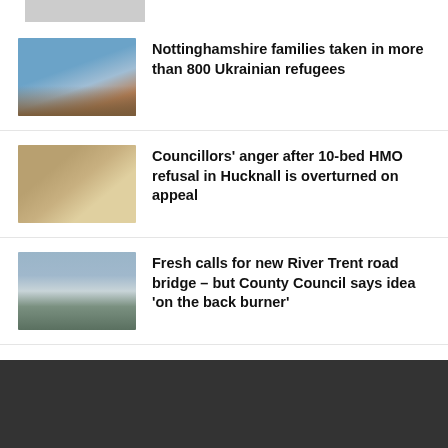[Figure (photo): Partial top image stub, cropped building/scene photo]
[Figure (photo): Photo of building with Ukrainian and UK flags on poles against a blue sky]
Nottinghamshire families taken in more than 800 Ukrainian refugees
[Figure (photo): Photo of group of people (councillors) standing outside stone terraced houses]
Councillors' anger after 10-bed HMO refusal in Hucknall is overturned on appeal
[Figure (photo): Photo of River Trent with trees and overcast sky]
Fresh calls for new River Trent road bridge – but County Council says idea 'on the back burner'